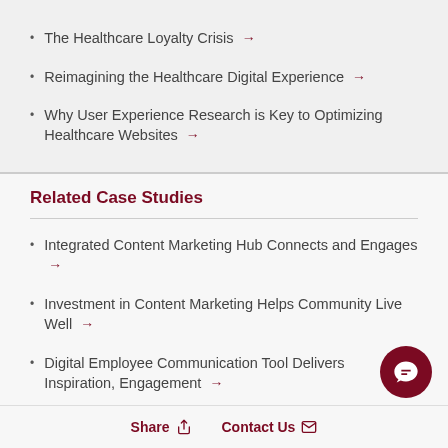The Healthcare Loyalty Crisis →
Reimagining the Healthcare Digital Experience →
Why User Experience Research is Key to Optimizing Healthcare Websites →
Related Case Studies
Integrated Content Marketing Hub Connects and Engages →
Investment in Content Marketing Helps Community Live Well →
Digital Employee Communication Tool Delivers Inspiration, Engagement →
Hospital Blog Strategy Focused on Health, Wellness, and Patient Stories →
Share   Contact Us